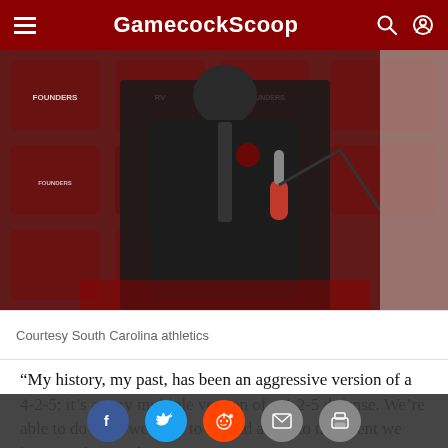GamecockScoop
[Figure (photo): A coach at a press conference podium in front of a South Carolina Gamecocks branded backdrop with Founders Federal Credit Union logos, holding a microphone]
Courtesy South Carolina athletics
“My history, my past, has been an aggressive version of a 4-2-5; it’s a very multiple version of a 4-2-5 defense. We’re able to do what we need to do and adapt to the talent we have,” White said.
“Every single week your defense isn’t going to be a different defense but things may have to adjust and things change. For the most part, the base out of a 4-2-5 formation…